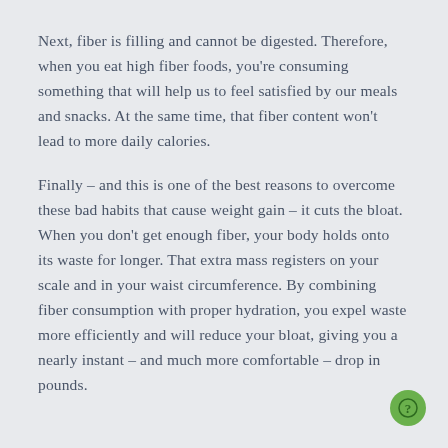Next, fiber is filling and cannot be digested. Therefore, when you eat high fiber foods, you're consuming something that will help us to feel satisfied by our meals and snacks. At the same time, that fiber content won't lead to more daily calories.
Finally – and this is one of the best reasons to overcome these bad habits that cause weight gain – it cuts the bloat. When you don't get enough fiber, your body holds onto its waste for longer. That extra mass registers on your scale and in your waist circumference. By combining fiber consumption with proper hydration, you expel waste more efficiently and will reduce your bloat, giving you a nearly instant – and much more comfortable – drop in pounds.